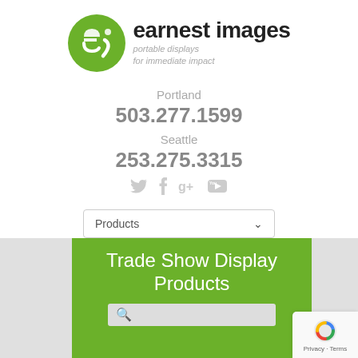[Figure (logo): Earnest Images logo: green circle with stylized 'ei' letters, next to bold text 'earnest images' and italic subtitle 'portable displays for immediate impact']
Portland
503.277.1599
Seattle
253.275.3315
[Figure (illustration): Social media icons: Twitter bird, Facebook f, Google+, YouTube]
Products
Trade Show Display Products
[Figure (screenshot): reCAPTCHA badge with Privacy - Terms text]